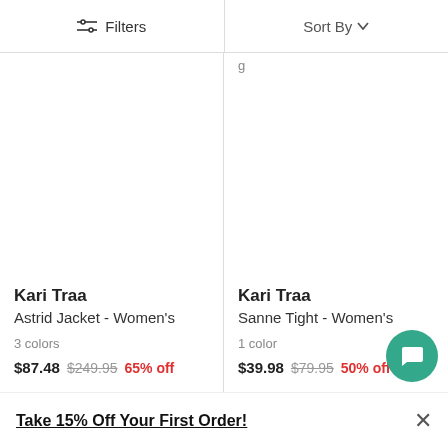Filters   Sort By
Kari Traa
Astrid Jacket - Women's
3 colors
$87.48  $249.95  65% off
Kari Traa
Sanne Tight - Women's
1 color
$39.98  $79.95  50% off
Take 15% Off Your First Order!